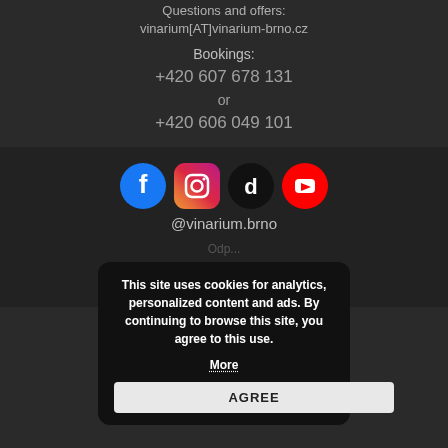Questions and offers:
vinarium[AT]vinarium-brno.cz
Bookings:
+420 607 678 131
or
+420 606 049 101
[Figure (infographic): Social media icons for Facebook, Instagram, TikTok, and YouTube, followed by handle @vinarium.brno]
@vinarium.brno
Ochrana osobních údajů
Zerif Lite Developed by ThemeIsle
This site uses cookies for analytics, personalized content and ads. By continuing to browse this site, you agree to this use. More
AGREE